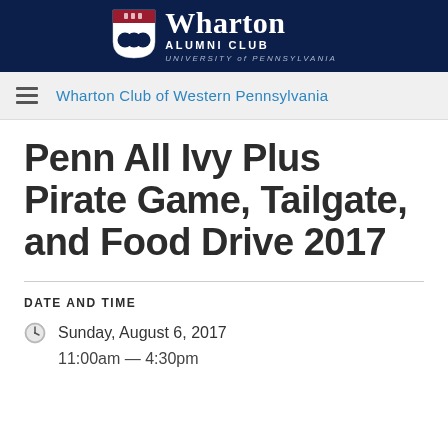Wharton Alumni Club University of Pennsylvania
Wharton Club of Western Pennsylvania
Penn All Ivy Plus Pirate Game, Tailgate, and Food Drive 2017
DATE AND TIME
Sunday, August 6, 2017
11:00am – 4:30pm